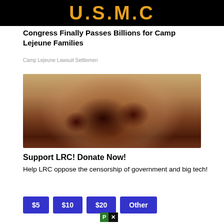[Figure (logo): U.S.M.C logo in gold/orange letters on black background]
Congress Finally Passes Billions for Camp Lejeune Families
Camp Lejeune Lawsuit Settlemen
[Figure (photo): Close-up photo of hands holding dark red-brown dates (fruit)]
Support LRC! Donate Now!
Help LRC oppose the censorship of government and big tech!